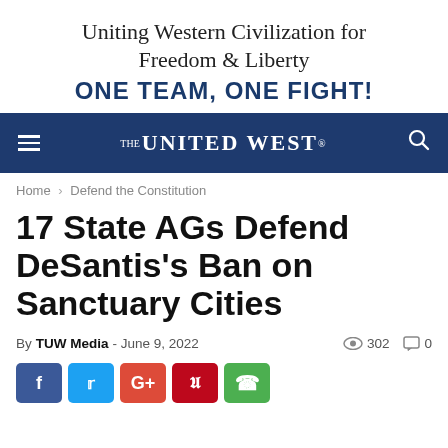Uniting Western Civilization for Freedom & Liberty
ONE TEAM, ONE FIGHT!
[Figure (logo): The United West navigation bar with hamburger menu, logo, and search icon on dark blue background]
Home › Defend the Constitution
17 State AGs Defend DeSantis's Ban on Sanctuary Cities
By TUW Media - June 9, 2022  👁 302  💬 0
[Figure (infographic): Social media share buttons: Facebook, Twitter, Google+, Pinterest, WhatsApp]